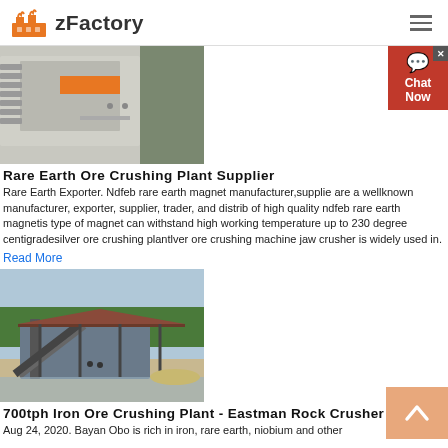zFactory
[Figure (photo): Rare earth ore crushing plant machinery, close-up of industrial crusher equipment with orange accent]
Rare Earth Ore Crushing Plant Supplier
Rare Earth Exporter. Ndfeb rare earth magnet manufacturer,supplier are a wellknown manufacturer, exporter, supplier, trader, and distributor of high quality ndfeb rare earth magnetis type of magnet can withstand high working temperature up to 230 degree centigradesilver ore crushing plantlver ore crushing machine jaw crusher is widely used in.
Read More
[Figure (photo): 700tph Iron Ore Crushing Plant - outdoor industrial processing site with conveyors and machinery near a river/lake]
700tph Iron Ore Crushing Plant - Eastman Rock Crusher
Aug 24, 2020. Bayan Obo is rich in iron, rare earth, niobium and other